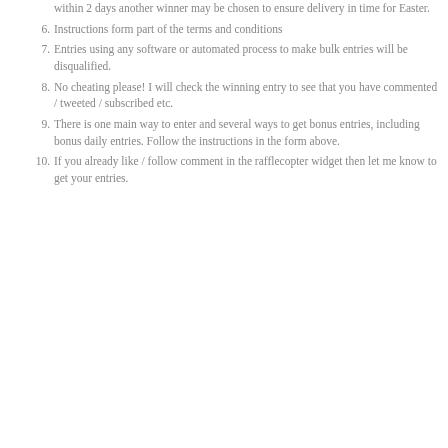5. The winners will be contacted by email, if they do not reply within 2 days another winner may be chosen to ensure delivery in time for Easter.
6. Instructions form part of the terms and conditions
7. Entries using any software or automated process to make bulk entries will be disqualified.
8. No cheating please! I will check the winning entry to see that you have commented / tweeted / subscribed etc.
9. There is one main way to enter and several ways to get bonus entries, including bonus daily entries. Follow the instructions in the form above.
10. If you already like / follow comment in the rafflecopter widget then let me know to get your entries.